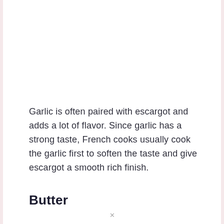Garlic is often paired with escargot and adds a lot of flavor. Since garlic has a strong taste, French cooks usually cook the garlic first to soften the taste and give escargot a smooth rich finish.
Butter